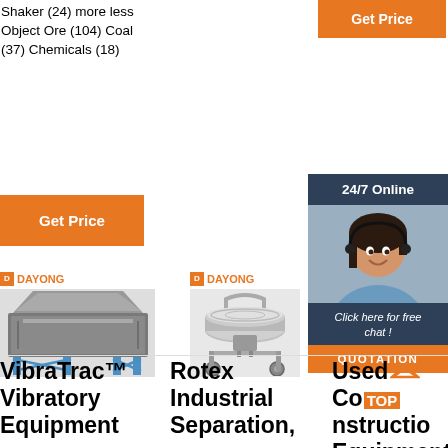Shaker (24) more less Object Ore (104) Coal (37) Chemicals (18)
[Figure (other): Orange 'Get Price' button top right]
[Figure (other): Orange 'Get Price' button left side]
[Figure (other): 24/7 Online customer support box with photo, 'Click here for free chat!' text, and orange QUOTATION button]
[Figure (photo): Dayong branded linear vibrating screen/shaker machine on blue stand]
[Figure (photo): Dayong branded rotary vibrating sieve/separator on wheeled stand]
VibraTrac™ Vibratory Equipment
Rotex Industrial Separation,
Used Construction Equipment,